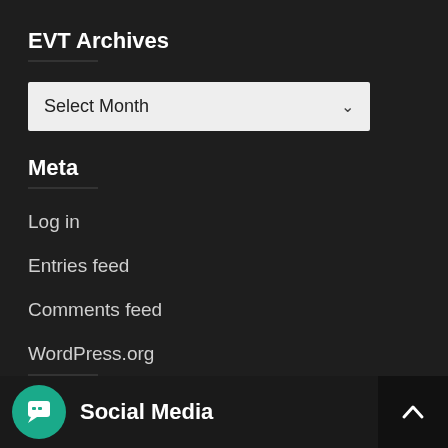EVT Archives
[Figure (screenshot): Select Month dropdown widget with light gray background]
Meta
Log in
Entries feed
Comments feed
WordPress.org
Social Media